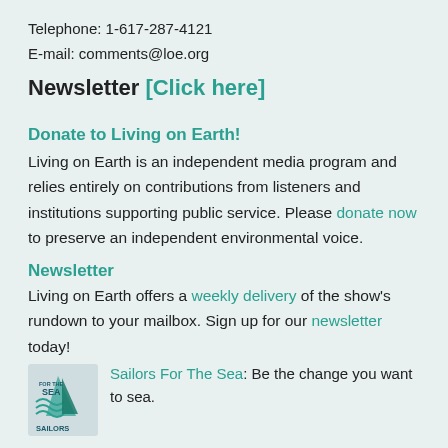Telephone: 1-617-287-4121
E-mail: comments@loe.org
Newsletter [Click here]
Donate to Living on Earth!
Living on Earth is an independent media program and relies entirely on contributions from listeners and institutions supporting public service. Please donate now to preserve an independent environmental voice.
Newsletter
Living on Earth offers a weekly delivery of the show's rundown to your mailbox. Sign up for our newsletter today!
[Figure (logo): Sailors For The Sea logo with waves and text]
Sailors For The Sea: Be the change you want to sea.